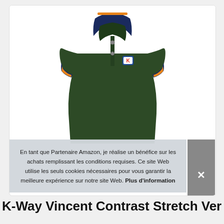[Figure (photo): Dark green K-Way polo shirt (Vincent Contrast Stretch) with navy blue collar, orange and navy striped cuffs, and K-Way logo badge on chest. Displayed on invisible mannequin against white background.]
En tant que Partenaire Amazon, je réalise un bénéfice sur les achats remplissant les conditions requises. Ce site Web utilise les seuls cookies nécessaires pour vous garantir la meilleure expérience sur notre site Web. Plus d'information
K-Way Vincent Contrast Stretch Verde